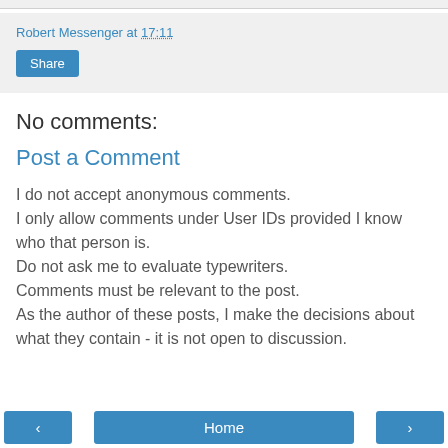Robert Messenger at 17:11
Share
No comments:
Post a Comment
I do not accept anonymous comments.
I only allow comments under User IDs provided I know who that person is.
Do not ask me to evaluate typewriters.
Comments must be relevant to the post.
As the author of these posts, I make the decisions about what they contain - it is not open to discussion.
‹  Home  ›